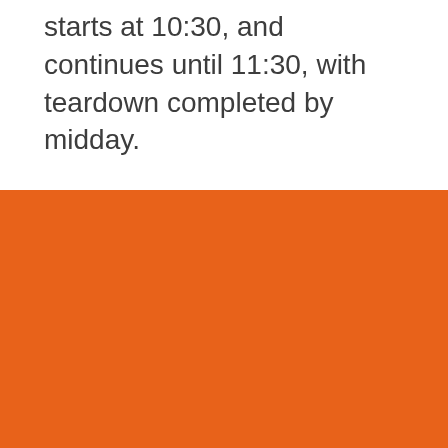starts at 10:30, and continues until 11:30, with teardown completed by midday.
[Figure (other): Solid orange background block filling the bottom portion of the page]